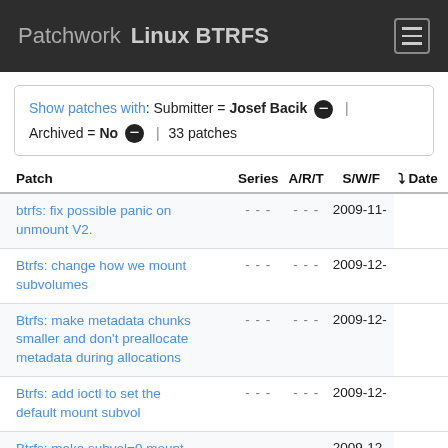Patchwork  Linux BTRFS
Show patches with: Submitter = Josef Bacik ⊖ | Archived = No ⊖ | 33 patches
| Patch | Series | A/R/T | S/W/F | Date |
| --- | --- | --- | --- | --- |
| btrfs: fix possible panic on unmount V2. | - - - | - - - | 2009-11- |
| Btrfs: change how we mount subvolumes | - - - | - - - | 2009-12- |
| Btrfs: make metadata chunks smaller and don't preallocate metadata during allocations | - - - | - - - | 2009-12- |
| Btrfs: add ioctl to set the default mount subvol | - - - | - - - | 2009-12- |
| Btrfs: make subvol=0 mount the original default root | - - - | - - - | 2009-12- |
| Btrfs: make set/get functions for the super compat_ro flags use compat_ro | - - - | - - - | 2009-12- |